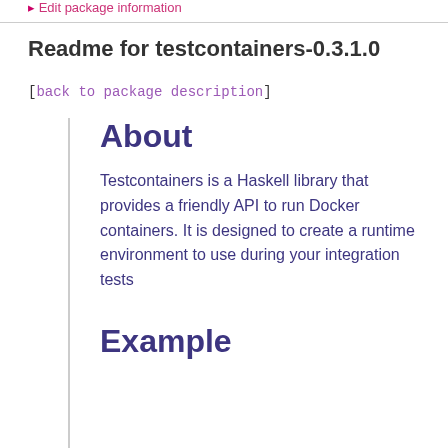Edit package information
Readme for testcontainers-0.3.1.0
[back to package description]
About
Testcontainers is a Haskell library that provides a friendly API to run Docker containers. It is designed to create a runtime environment to use during your integration tests
Example